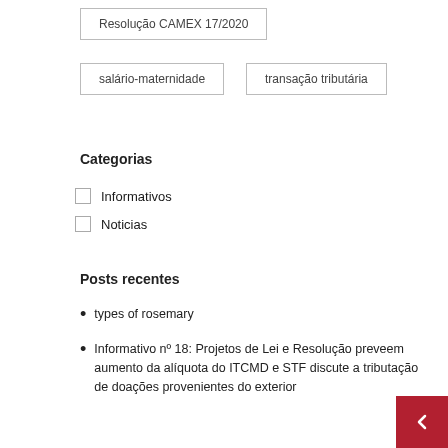Resolução CAMEX 17/2020
salário-maternidade
transação tributária
Categorias
Informativos
Noticias
Posts recentes
types of rosemary
Informativo nº 18: Projetos de Lei e Resolução preveem aumento da alíquota do ITCMD e STF discute a tributação de doações provenientes do exterior